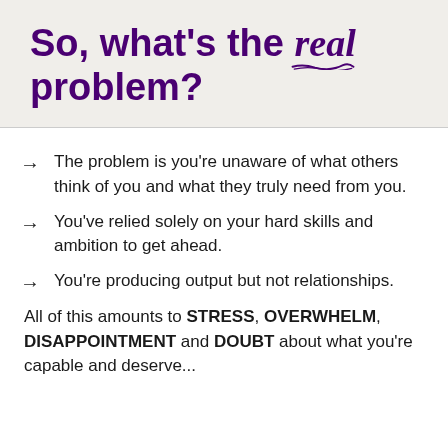So, what's the real problem?
The problem is you're unaware of what others think of you and what they truly need from you.
You've relied solely on your hard skills and ambition to get ahead.
You're producing output but not relationships.
All of this amounts to STRESS, OVERWHELM, DISAPPOINTMENT and DOUBT about what you're capable and deserve...